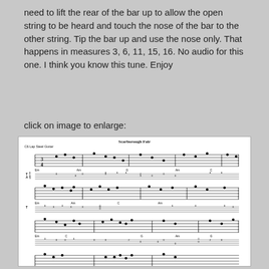need to lift the rear of the bar up to allow the open string to be heard and touch the nose of the bar to the other string. Tip the bar up and use the nose only. That happens in measures 3, 6, 11, 15, 16. No audio for this one. I think you know this tune. Enjoy
click on image to enlarge:
[Figure (illustration): Sheet music for 'Scarborough Fair' arranged for C6 Lap Steel Guitar, showing multiple rows of musical notation with tablature (TAB) beneath each staff. The score has 4 visible rows of music with standard notation on top and guitar tablature numbers below.]